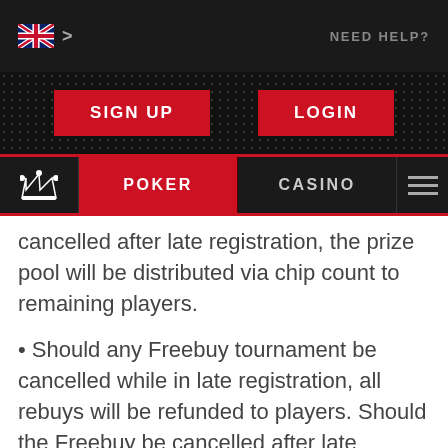[Figure (screenshot): Top navigation bar with UK flag, chevron, and NEED HELP? text]
[Figure (screenshot): Button bar with SIGN UP and LOGIN red buttons on dark dotted background]
[Figure (screenshot): Navigation bar with crown icon, POKER (red), CASINO, and hamburger menu]
cancelled after late registration, the prize pool will be distributed via chip count to remaining players.
• Should any Freebuy tournament be cancelled while in late registration, all rebuys will be refunded to players. Should the Freebuy be cancelled after late registration, the prize pool will be distributed via chip count to remaining players.